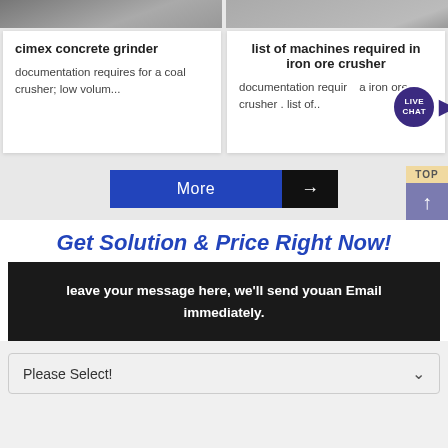[Figure (photo): Two grey photo strips at top representing product images]
cimex concrete grinder
documentation requires for a coal crusher; low volum...
list of machines required in iron ore crusher
documentation requir... a iron ore crusher . list of..
[Figure (other): LIVE CHAT speech bubble badge in dark purple]
[Figure (other): More button with blue and black sections and arrow]
[Figure (other): TOP and up-arrow navigation button in tan and purple]
Get Solution & Price Right Now!
leave your message here, we'll send youan Email immediately.
Please Select!